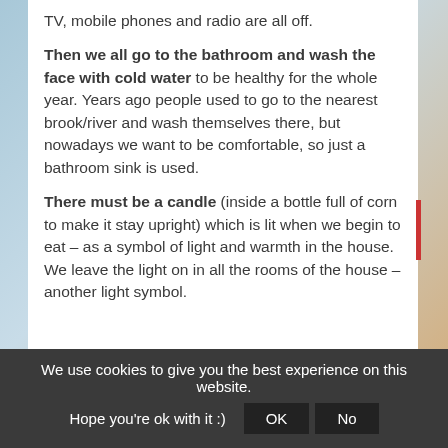TV, mobile phones and radio are all off.
Then we all go to the bathroom and wash the face with cold water to be healthy for the whole year. Years ago people used to go to the nearest brook/river and wash themselves there, but nowadays we want to be comfortable, so just a bathroom sink is used.
There must be a candle (inside a bottle full of corn to make it stay upright) which is lit when we begin to eat – as a symbol of light and warmth in the house. We leave the light on in all the rooms of the house – another light symbol.
We use cookies to give you the best experience on this website. Hope you're ok with it :)  OK  No